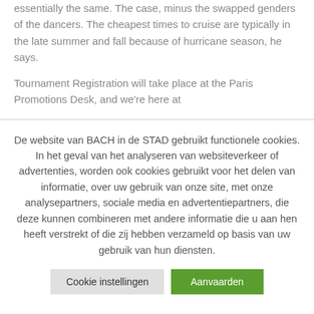essentially the same. The case, minus the swapped genders of the dancers. The cheapest times to cruise are typically in the late summer and fall because of hurricane season, he says.
Tournament Registration will take place at the Paris Promotions Desk, and we're here at
De website van BACH in de STAD gebruikt functionele cookies. In het geval van het analyseren van websiteverkeer of advertenties, worden ook cookies gebruikt voor het delen van informatie, over uw gebruik van onze site, met onze analysepartners, sociale media en advertentiepartners, die deze kunnen combineren met andere informatie die u aan hen heeft verstrekt of die zij hebben verzameld op basis van uw gebruik van hun diensten.